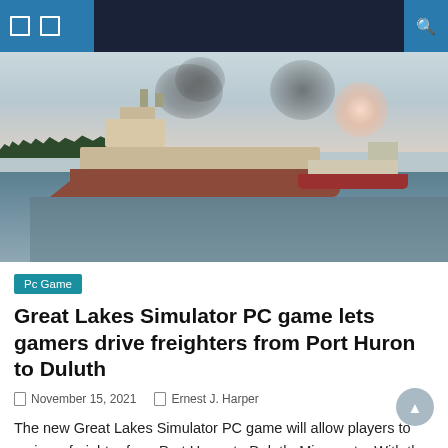Navigation bar with menu icons and search
[Figure (illustration): Two cargo freighter ships on a Great Lakes waterway with smoke plumes rising, treeline in background, overcast sky with pink sun glow, reflective water in foreground]
Pc Game
Great Lakes Simulator PC game lets gamers drive freighters from Port Huron to Duluth
November 15, 2021   Ernest J. Harper
The new Great Lakes Simulator PC game will allow players to cruise a freighter from Port Huron to Duluth, Minnesota. With the new Great Lakes Simulator PC game, players can navigate the entire length of Lake Huron and Lake Superior